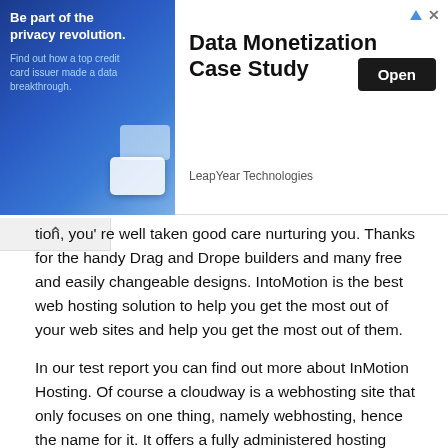[Figure (other): Advertisement banner for LeapYear Technologies - Data Monetization Case Study. Left side shows blue gradient background with text 'Be part of the privacy revolution. Find out how a top credit card issuer made a data breakthrough.' Right side shows title 'Data Monetization Case Study', an 'Open' button, and 'LeapYear Technologies' company name.]
tion, you' re well taken good care nurturing you. Thanks for the handy Drag and Drope builders and many free and easily changeable designs. IntoMotion is the best web hosting solution to help you get the most out of your web sites and help you get the most out of them.
In our test report you can find out more about InMotion Hosting. Of course a cloudway is a webhosting site that only focuses on one thing, namely webhosting, hence the name for it. It offers a fully administered hosting solution in the middle of the day, all of which has a great feature: go paid as you go.
As the kind of hosting service providers who focus only on managing your hosting platforms, it makes them one of the best in what they do. The great thing about Cloudways is that their service is very agile and scaleable. With no second thought, these boys give you a complete site management